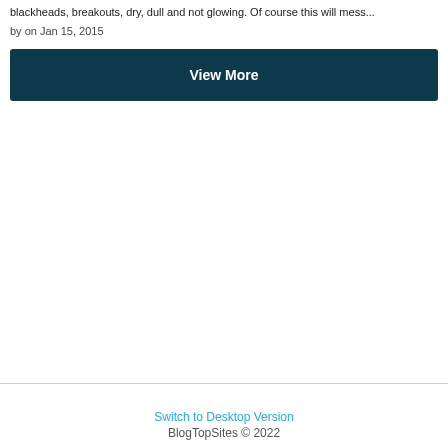blackheads, breakouts, dry, dull and not glowing. Of course this will mess...
by on Jan 15, 2015
[Figure (other): Dark teal 'View More' button]
Switch to Desktop Version
BlogTopSites © 2022